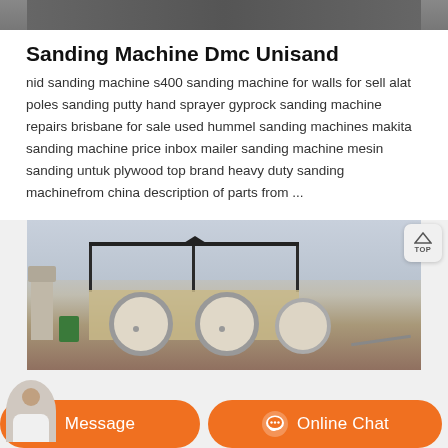[Figure (photo): Top strip of an industrial machine photo, partially visible at top of page]
Sanding Machine Dmc Unisand
nid sanding machine s400 sanding machine for walls for sell alat poles sanding putty hand sprayer gyprock sanding machine repairs brisbane for sale used hummel sanding machines makita sanding machine price inbox mailer sanding machine mesin sanding untuk plywood top brand heavy duty sanding machinefrom china description of parts from ...
[Figure (photo): Industrial outdoor scene showing large rotating wheel/drum machinery, a shed structure with roof supports, silos and barrels in the foreground]
Message
Online Chat